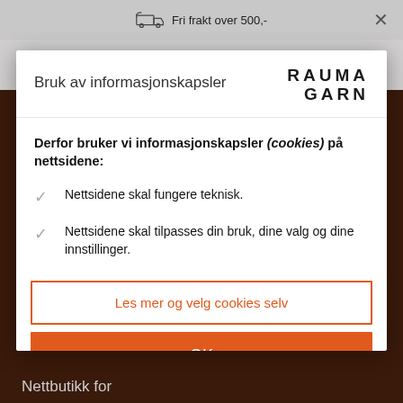Fri frakt over 500,-
Bruk av informasjonskapsler
[Figure (logo): RAUMA GARN logo in bold uppercase black letters]
Derfor bruker vi informasjonskapsler (cookies) på nettsidene:
Nettsidene skal fungere teknisk.
Nettsidene skal tilpasses din bruk, dine valg og dine innstillinger.
Les mer og velg cookies selv
OK
Nettbutikk for